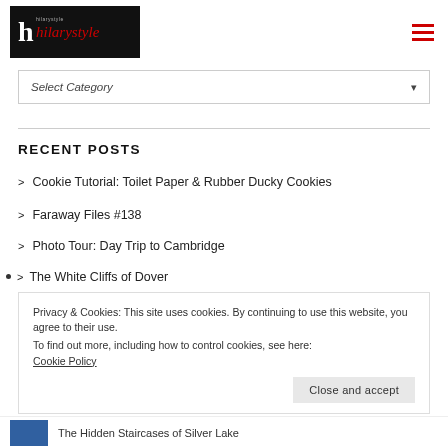[Figure (logo): Hilary Style blog logo — black rectangle with white 'h' and red cursive 'hilarystyle' text]
[Figure (other): Red hamburger menu icon (three horizontal bars)]
Select Category
RECENT POSTS
Cookie Tutorial: Toilet Paper & Rubber Ducky Cookies
Faraway Files #138
Photo Tour: Day Trip to Cambridge
The White Cliffs of Dover
Privacy & Cookies: This site uses cookies. By continuing to use this website, you agree to their use.
To find out more, including how to control cookies, see here:
Cookie Policy
Close and accept
The Hidden Staircases of Silver Lake